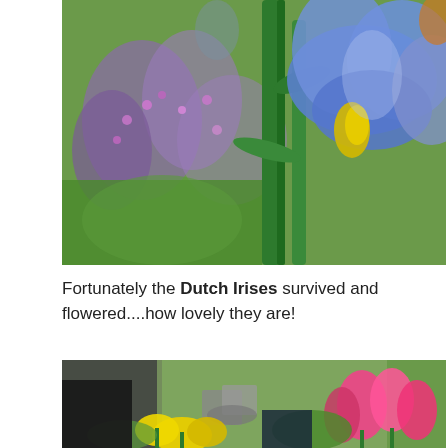[Figure (photo): Close-up photograph of a blue Dutch Iris flower in bloom with yellow markings, surrounded by lush green foliage and purple flowers in a garden setting.]
Fortunately the Dutch Irises survived and flowered....how lovely they are!
[Figure (photo): Garden scene with bright pink and yellow tulips in the foreground, garden furniture (chairs and table) visible in the background, surrounded by greenery and a fence.]